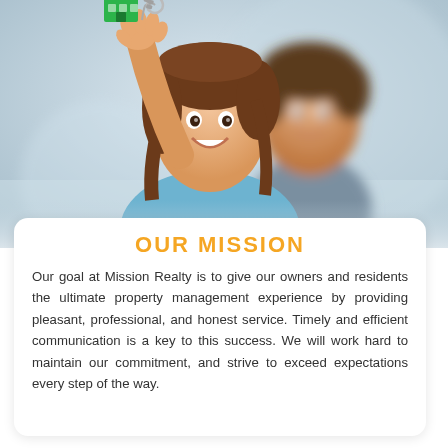[Figure (photo): A smiling couple holding up a green house-shaped keychain on keys toward the camera. The woman is in the foreground with the keys, and the man is slightly behind her. Both appear happy. The background is blurred/light blue-gray. Photo is styled as a real estate promotional image.]
OUR MISSION
Our goal at Mission Realty is to give our owners and residents the ultimate property management experience by providing pleasant, professional, and honest service. Timely and efficient communication is a key to this success. We will work hard to maintain our commitment, and strive to exceed expectations every step of the way.